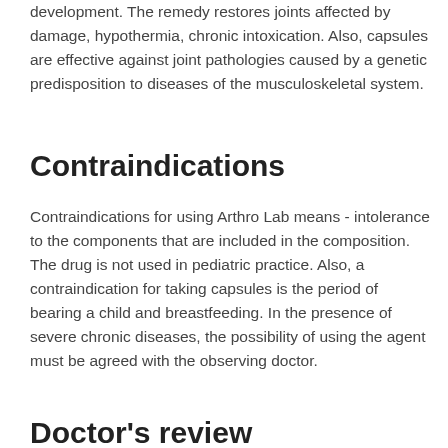diseases of acute and chronic forms of development. The remedy restores joints affected by damage, hypothermia, chronic intoxication. Also, capsules are effective against joint pathologies caused by a genetic predisposition to diseases of the musculoskeletal system.
Contraindications
Contraindications for using Arthro Lab means - intolerance to the components that are included in the composition. The drug is not used in pediatric practice. Also, a contraindication for taking capsules is the period of bearing a child and breastfeeding. In the presence of severe chronic diseases, the possibility of using the agent must be agreed with the observing doctor.
Doctor's review